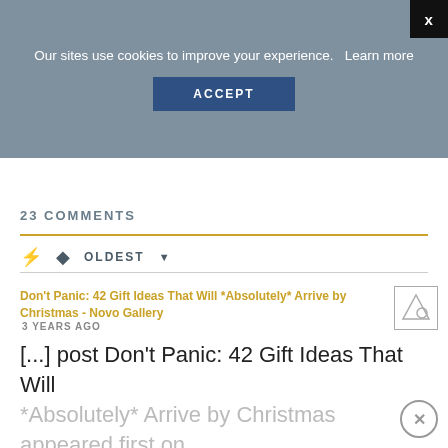Our sites use cookies to improve your experience.   Learn more
ACCEPT
23 COMMENTS
OLDEST
Don't Panic: 42 Gift Ideas That Will *Absolutely* Arrive by Christmas - Novo Gallery
3 YEARS AGO
[...] post Don't Panic: 42 Gift Ideas That Will *Absolutely* Arrive by Christmas appeared first on Emily [...]